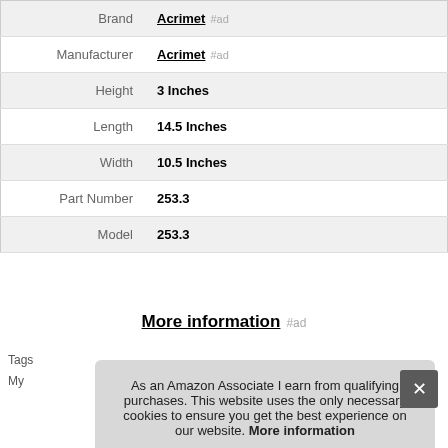| Brand | Acrimet #ad |
| Manufacturer | Acrimet #ad |
| Height | 3 Inches |
| Length | 14.5 Inches |
| Width | 10.5 Inches |
| Part Number | 253.3 |
| Model | 253.3 |
More information #ad
As an Amazon Associate I earn from qualifying purchases. This website uses the only necessary cookies to ensure you get the best experience on our website. More information